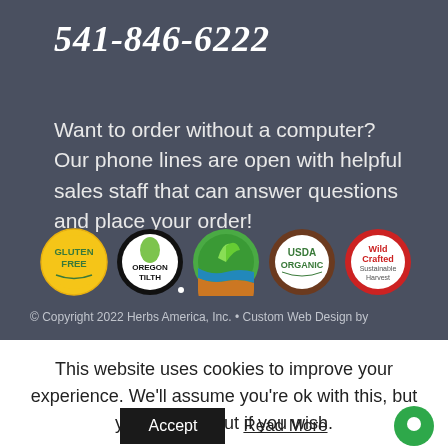541-846-6222
Want to order without a computer? Our phone lines are open with helpful sales staff that can answer questions and place your order!
[Figure (logo): Row of five certification logos: Gluten Free (yellow circle), Oregon Tilth (black/white circle), a green/blue/orange circular logo, USDA Organic (brown circle), Wild Crafted Sustainable Harvest (red/white circle)]
© Copyright 2022 Herbs America, Inc. • Custom Web Design by
This website uses cookies to improve your experience. We'll assume you're ok with this, but you can opt-out if you wish.
Accept   Read More